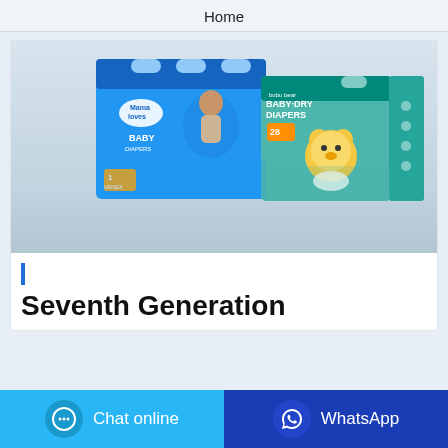Home
[Figure (photo): Product photo showing two baby diaper packages: 'Mamaloves Baby' diapers (blue box) and 'bubu bear Baby-Dry Diapers' (teal/green box with cartoon bear character), displayed on a reflective surface with light grey background.]
Seventh Generation
Chat online
WhatsApp